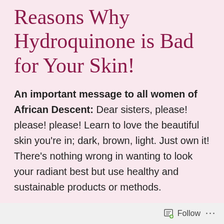Reasons Why Hydroquinone is Bad for Your Skin!
An important message to all women of African Descent: Dear sisters, please! please! please! Learn to love the beautiful skin you're in; dark, brown, light. Just own it! There's nothing wrong in wanting to look your radiant best but use healthy and sustainable products or methods.
There is a big difference between seeking a glowing, healthy and even-toned skin and an unhealthy fixation
Follow